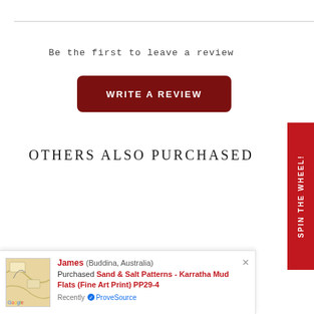Be the first to leave a review
[Figure (screenshot): Dark red rounded button labeled WRITE A REVIEW]
OTHERS ALSO PURCHASED
[Figure (screenshot): Red vertical sidebar tab labeled SPIN THE WHEEL!]
[Figure (screenshot): Notification popup: James (Buddina, Australia) Purchased Sand & Salt Patterns - Karratha Mud Flats (Fine Art Print) PP29-4, Recently via ProveSource, with Google map thumbnail]